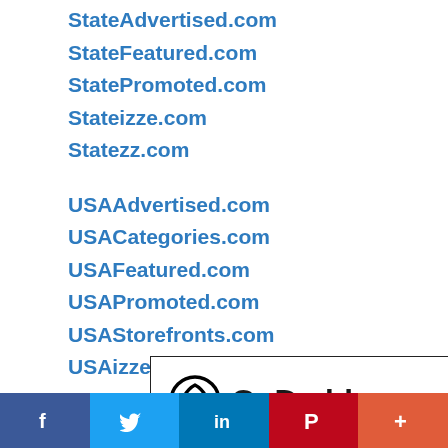StateAdvertised.com
StateFeatured.com
StatePromoted.com
Stateizze.com
Statezz.com
USAAdvertised.com
USACategories.com
USAFeatured.com
USAPromoted.com
USAStorefronts.com
USAizze.com
[Figure (logo): GoDaddy logo with circular G icon and GoDaddy text in black]
f  (Twitter bird)  in  P  +